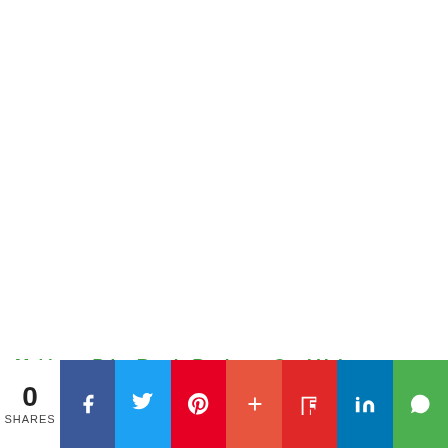[Figure (other): Large white blank area filling most of the page, representing an image or content area above the title.]
Making a Print-Ready Business Card Using
0 SHARES | Facebook | Twitter | Pinterest | + | Flipboard | LinkedIn | WhatsApp